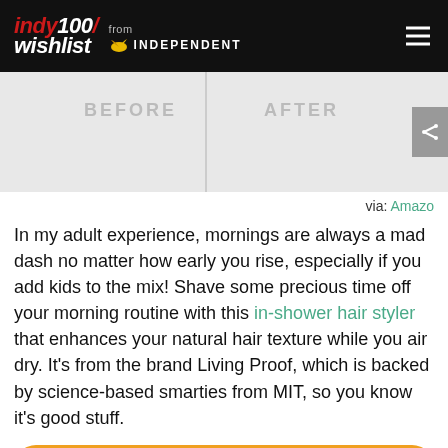indy100/wishlist from INDEPENDENT
[Figure (photo): Before and after comparison image strip with labels BEFORE and AFTER and a share button on the right]
via: Amazon
In my adult experience, mornings are always a mad dash no matter how early you rise, especially if you add kids to the mix! Shave some precious time off your morning routine with this in-shower hair styler that enhances your natural hair texture while you air dry. It's from the brand Living Proof, which is backed by science-based smarties from MIT, so you know it's good stuff.
SEE IT ON AMAZON